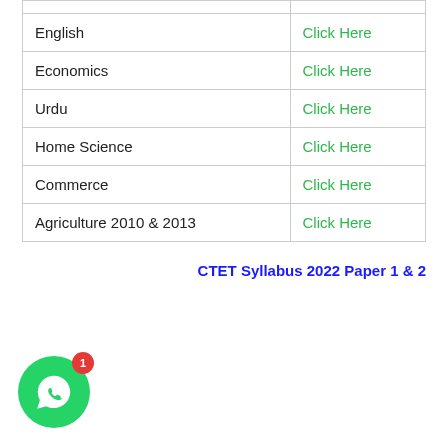| English | Click Here |
| Economics | Click Here |
| Urdu | Click Here |
| Home Science | Click Here |
| Commerce | Click Here |
| Agriculture 2010 & 2013 | Click Here |
CTET Syllabus 2022 Paper 1 & 2
[Figure (illustration): WhatsApp chat button with green circle icon and red notification badge showing 1]